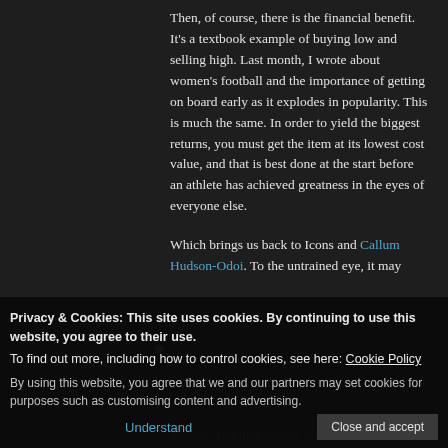Then, of course, there is the financial benefit. It's a textbook example of buying low and selling high. Last month, I wrote about women's football and the importance of getting on board early as it explodes in popularity. This is much the same. In order to yield the biggest returns, you must get the item at its lowest cost value, and that is best done at the start before an athlete has achieved greatness in the eyes of everyone else.
Which brings us back to Icons and Callum Hudson-Odoi. To the untrained eye, it may
Privacy & Cookies: This site uses cookies. By continuing to use this website, you agree to their use. To find out more, including how to control cookies, see here: Cookie Policy
By using this website, you agree that we and our partners may set cookies for purposes such as customising content and advertising.
Understand
Close and accept
Santos. And then there's the small matter of